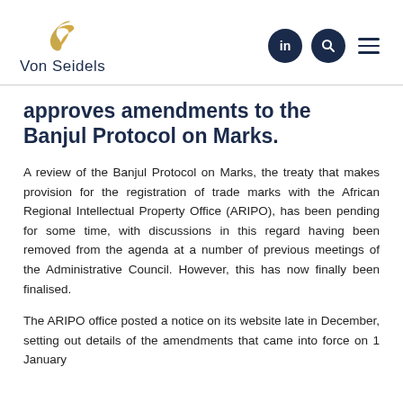[Figure (logo): Von Seidels logo with golden bird/wing mark above the text 'Von Seidels']
approves amendments to the Banjul Protocol on Marks.
A review of the Banjul Protocol on Marks, the treaty that makes provision for the registration of trade marks with the African Regional Intellectual Property Office (ARIPO), has been pending for some time, with discussions in this regard having been removed from the agenda at a number of previous meetings of the Administrative Council. However, this has now finally been finalised.
The ARIPO office posted a notice on its website late in December, setting out details of the amendments that came into force on 1 January